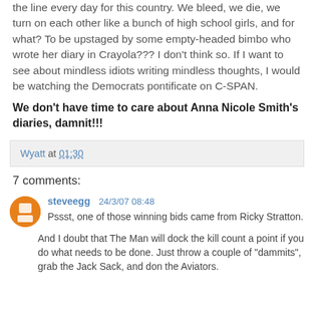the line every day for this country. We bleed, we die, we turn on each other like a bunch of high school girls, and for what? To be upstaged by some empty-headed bimbo who wrote her diary in Crayola??? I don't think so. If I want to see about mindless idiots writing mindless thoughts, I would be watching the Democrats pontificate on C-SPAN.
We don't have time to care about Anna Nicole Smith's diaries, damnit!!!
Wyatt at 01:30
7 comments:
steveegg 24/3/07 08:48
Pssst, one of those winning bids came from Ricky Stratton.
And I doubt that The Man will dock the kill count a point if you do what needs to be done. Just throw a couple of "dammits", grab the Jack Sack, and don the Aviators.